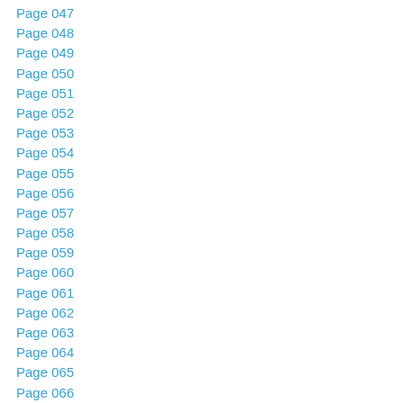Page 047
Page 048
Page 049
Page 050
Page 051
Page 052
Page 053
Page 054
Page 055
Page 056
Page 057
Page 058
Page 059
Page 060
Page 061
Page 062
Page 063
Page 064
Page 065
Page 066